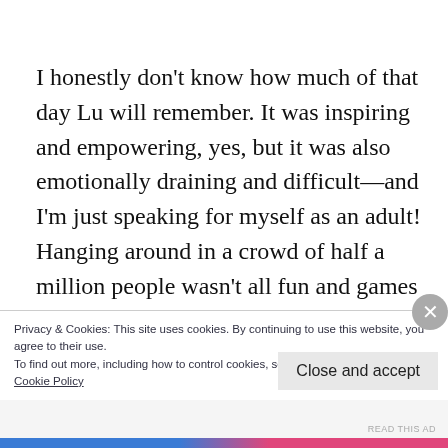I honestly don't know how much of that day Lu will remember. It was inspiring and empowering, yes, but it was also emotionally draining and difficult—and I'm just speaking for myself as an adult! Hanging around in a crowd of half a million people wasn't all fun and games for a 6-year-old either (although I did find her a tree to climb and an ice cream
Privacy & Cookies: This site uses cookies. By continuing to use this website, you agree to their use.
To find out more, including how to control cookies, see here:
Cookie Policy
Close and accept